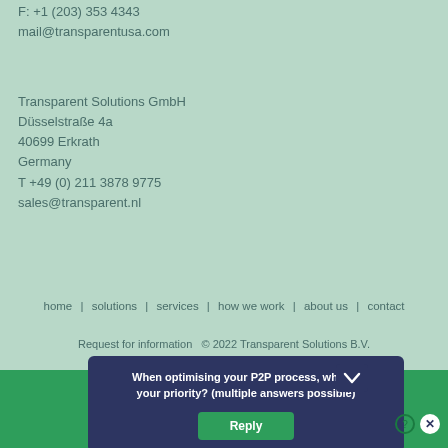F: +1 (203) 353 4343
mail@transparentusa.com
Transparent Solutions GmbH
Düsselstraße 4a
40699 Erkrath
Germany
T +49 (0) 211 3878 9775
sales@transparent.nl
home   solutions   services   how we work   about us   contact
Request for information   © 2022 Transparent Solutions B.V.
For ... ses anonym... site we as...
When optimising your P2P process, what is your priority? (multiple answers possible)
Reply